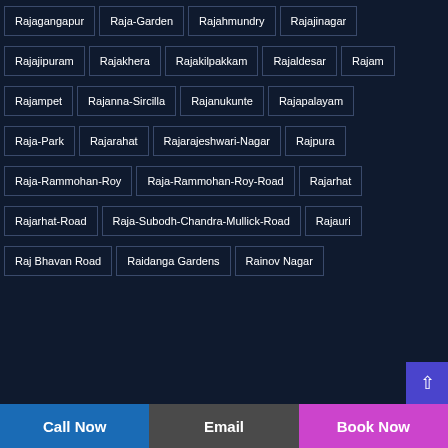Rajagangapur
Raja-Garden
Rajahmundry
Rajajinagar
Rajajipuram
Rajakhera
Rajakilpakkam
Rajaldesar
Rajam
Rajampet
Rajanna-Sircilla
Rajanukunte
Rajapalayam
Raja-Park
Rajarahat
Rajarajeshwari-Nagar
Rajpura
Raja-Rammohan-Roy
Raja-Rammohan-Roy-Road
Rajarhat
Rajarhat-Road
Raja-Subodh-Chandra-Mullick-Road
Rajauri
Raj Bhavan Road
Raidanga Gardens
Rainov Nagar